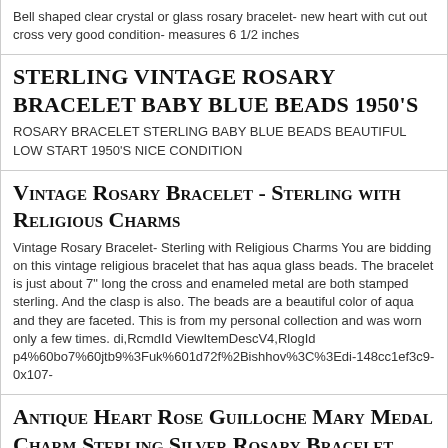Bell shaped clear crystal or glass rosary bracelet- new heart with cut out cross very good condition- measures 6 1/2 inches
STERLING VINTAGE ROSARY BRACELET BABY BLUE BEADS 1950'S
ROSARY BRACELET STERLING BABY BLUE BEADS BEAUTIFUL LOW START 1950'S NICE CONDITION
Vintage Rosary Bracelet - Sterling with Religious Charms
Vintage Rosary Bracelet- Sterling with Religious Charms You are bidding on this vintage religious bracelet that has aqua glass beads. The bracelet is just about 7" long the cross and enameled metal are both stamped sterling. And the clasp is also. The beads are a beautiful color of aqua and they are faceted. This is from my personal collection and was worn only a few times. di,RcmdId ViewItemDescV4,RlogId p4%60bo7%60jtb9%3Fuk%601d72f%2Bishhov%3C%3Edi-148cc1ef3c9-0x107-
Antique Heart Rose Guilloche Mary Medal Charm Sterling Silver Rosary Bracelet
Antique Saints Charm Sterling Silver Heart Rose Rosary Bracelet Hallmarked CREED STERLING 10 CHARMS: 5 guilloched enamel hearts. 5 roses SAINT RELIGIOUS MEDALS ON THE REVERSE SIDES: Mary with Cross. Infant of Prague, Miraculous Medal St Christopher. Mary W/ Baby Jesus, St Anthony, Sacred Heart of Jesus, Blessed Mother Mary, St Michael, St Joseph Bracelet Heart hallmarked